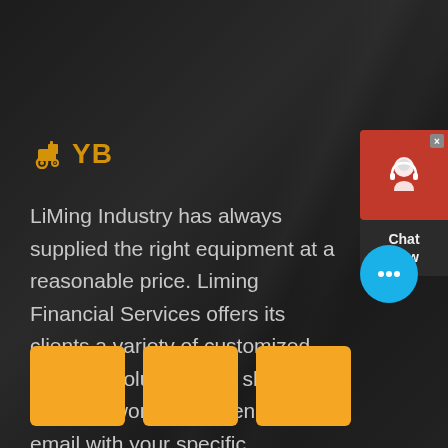[Figure (logo): YB logo with forklift/tractor icon in orange/gold color on dark background]
LiMing Industry has always supplied the right equipment at a reasonable price. Liming Financial Services offers its clients a variety of customized financial solutions and shipping services worldwide. Send us an email with your specific requirements so that we can suggest the most efficient transportation options for your goods.
[Figure (illustration): Three orange/amber square thumbnail boxes at the bottom left]
[Figure (illustration): Chat Now widget in top right corner with red background and customer service icon]
[Figure (illustration): Blue circular chat bubble icon with three dots, bottom right area]